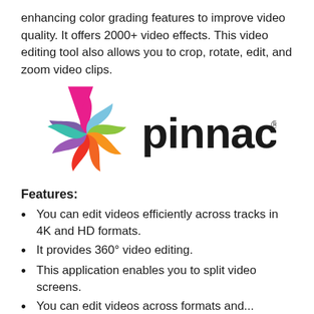enhancing color grading features to improve video quality. It offers 2000+ video effects. This video editing tool also allows you to crop, rotate, edit, and zoom video clips.
[Figure (logo): Pinnacle logo: colorful pinwheel flower icon on the left and the word 'pinnacle' in bold black lowercase letters on the right with a registered trademark symbol.]
Features:
You can edit videos efficiently across tracks in 4K and HD formats.
It provides 360° video editing.
This application enables you to split video screens.
You can edit videos across formats and...